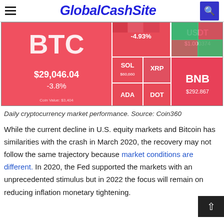GlobalCashSite
[Figure (infographic): Daily cryptocurrency market heatmap showing BTC at $29,046.04 (-3.8%), BNB at $292.867, USDT at $1.000374, SOL, XRP, ADA, DOT and other coins displayed as colored tiles (red for losses, green for gains). Overall market showing -4.93%.]
Daily cryptocurrency market performance. Source: Coin360
While the current decline in U.S. equity markets and Bitcoin has similarities with the crash in March 2020, the recovery may not follow the same trajectory because market conditions are different. In 2020, the Fed supported the markets with an unprecedented stimulus but in 2022 the focus will remain on reducing inflation monetary tightening.